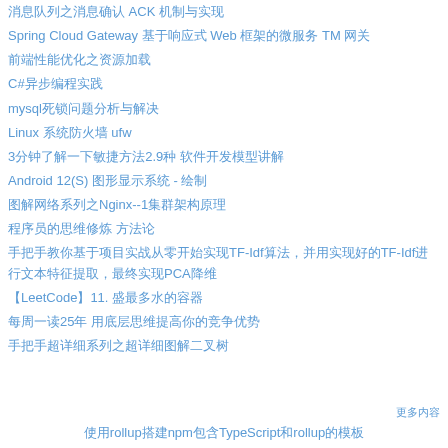消息队列之消息确认 ACK 机制与实现
Spring Cloud Gateway 基于响应式 Web 框架的微服务 TM 网关
前端性能优化之资源加载
C#异步编程实践
mysql死锁问题分析与解决
Linux 系统防火墙 ufw
3分钟了解一下敏捷方法2.9种 软件开发模型讲解
Android 12(S) 图形显示系统 - 绘制
图解网络系列之Nginx--1集群架构原理
程序员的思维修炼 方法论
手把手教你基于项目实战从零开始实现TF-Idf算法，并用实现好的TF-Idf进行文本特征提取，最终实现PCA降维
【LeetCode】11. 盛最多水的容器
每周一读25年 用底层思维提高你的竞争优势
手把手超详细系列之超详细图解二叉树
更多内容
使用rollup搭建npm包含TypeScript和rollup的模板